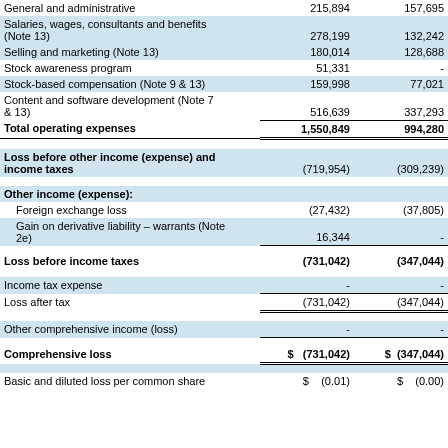|  |  |  |
| --- | --- | --- |
| General and administrative | 215,894 | 157,695 |
| Salaries, wages, consultants and benefits (Note 13) | 278,199 | 132,242 |
| Selling and marketing (Note 13) | 180,014 | 128,688 |
| Stock awareness program | 51,331 | - |
| Stock-based compensation (Note 9 & 13) | 159,998 | 77,021 |
| Content and software development (Note 7 & 13) | 516,639 | 337,293 |
| Total operating expenses | 1,550,849 | 994,280 |
| Loss before other income (expense) and income taxes | (719,954) | (309,239) |
| Other income (expense): |  |  |
| Foreign exchange loss | (27,432) | (37,805) |
| Gain on derivative liability – warrants (Note 2e) | 16,344 | - |
| Loss before income taxes | (731,042) | (347,044) |
| Income tax expense | - | - |
| Loss after tax | (731,042) | (347,044) |
| Other comprehensive income (loss) | - | - |
| Comprehensive loss | $ (731,042) | $ (347,044) |
| Basic and diluted loss per common share | $ (0.01) | $ (0.00) |